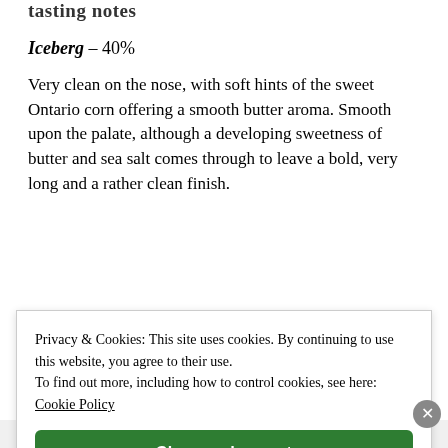tasting notes
Iceberg – 40%
Very clean on the nose, with soft hints of the sweet Ontario corn offering a smooth butter aroma. Smooth upon the palate, although a developing sweetness of butter and sea salt comes through to leave a bold, very long and a rather clean finish.
Privacy & Cookies: This site uses cookies. By continuing to use this website, you agree to their use.
To find out more, including how to control cookies, see here: Cookie Policy
Close and accept